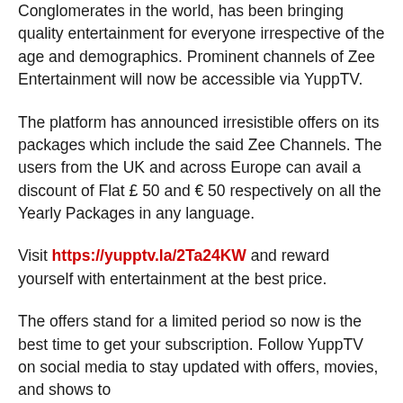Conglomerates in the world, has been bringing quality entertainment for everyone irrespective of the age and demographics. Prominent channels of Zee Entertainment will now be accessible via YuppTV.
The platform has announced irresistible offers on its packages which include the said Zee Channels. The users from the UK and across Europe can avail a discount of Flat £ 50 and € 50 respectively on all the Yearly Packages in any language.
Visit https://yupptv.la/2Ta24KW and reward yourself with entertainment at the best price.
The offers stand for a limited period so now is the best time to get your subscription. Follow YuppTV on social media to stay updated with offers, movies, and shows to